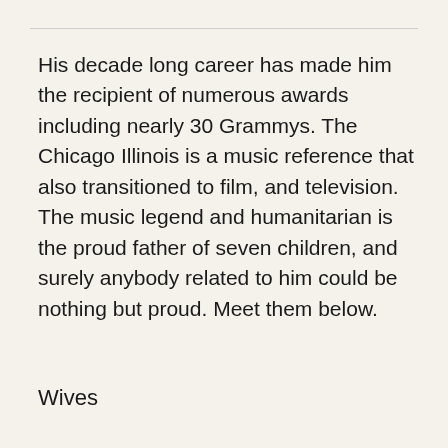His decade long career has made him the recipient of numerous awards including nearly 30 Grammys. The Chicago Illinois is a music reference that also transitioned to film, and television. The music legend and humanitarian is the proud father of seven children, and surely anybody related to him could be nothing but proud. Meet them below.
Wives